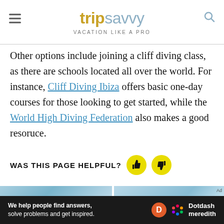tripsavvy VACATION LIKE A PRO
Other options include joining a cliff diving class, as there are schools located all over the world. For instance, Cliff Diving Ibiza offers basic one-day courses for those looking to get started, while the World High Diving Federation also makes a good resoruce.
WAS THIS PAGE HELPFUL?
[Figure (infographic): Two blue sky/water images side by side with Ad label]
We help people find answers, solve problems and get inspired. Dotdash meredith